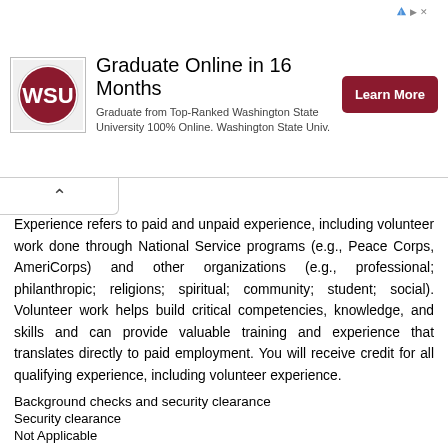[Figure (logo): Washington State University logo and advertisement banner reading 'Graduate Online in 16 Months' with a Learn More button]
Experience refers to paid and unpaid experience, including volunteer work done through National Service programs (e.g., Peace Corps, AmeriCorps) and other organizations (e.g., professional; philanthropic; religions; spiritual; community; student; social). Volunteer work helps build critical competencies, knowledge, and skills and can provide valuable training and experience that translates directly to paid employment. You will receive credit for all qualifying experience, including volunteer experience.
Background checks and security clearance
Security clearance
Not Applicable